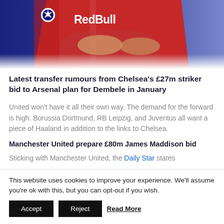[Figure (photo): Two footballers in red Red Bull jerseys, one wearing a Champions League badge, competing or celebrating on a pitch.]
Latest transfer rumours from Chelsea's £27m striker bid to Arsenal plan for Dembele in January
United won't have it all their own way. The demand for the forward is high. Borussia Dortmund, RB Leipzig, and Juventus all want a piece of Haaland in addition to the links to Chelsea.
Manchester United prepare £80m James Maddison bid
Sticking with Manchester United, the Daily Star states
This website uses cookies to improve your experience. We'll assume you're ok with this, but you can opt-out if you wish.